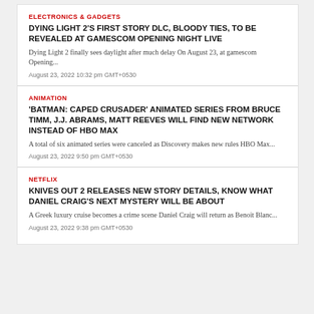ELECTRONICS & GADGETS
DYING LIGHT 2'S FIRST STORY DLC, BLOODY TIES, TO BE REVEALED AT GAMESCOM OPENING NIGHT LIVE
Dying Light 2 finally sees daylight after much delay On August 23, at gamescom Opening...
August 23, 2022 10:32 pm GMT+0530
ANIMATION
'BATMAN: CAPED CRUSADER' ANIMATED SERIES FROM BRUCE TIMM, J.J. ABRAMS, MATT REEVES WILL FIND NEW NETWORK INSTEAD OF HBO MAX
A total of six animated series were canceled as Discovery makes new rules HBO Max...
August 23, 2022 9:50 pm GMT+0530
NETFLIX
KNIVES OUT 2 RELEASES NEW STORY DETAILS, KNOW WHAT DANIEL CRAIG'S NEXT MYSTERY WILL BE ABOUT
A Greek luxury cruise becomes a crime scene Daniel Craig will return as Benoit Blanc...
August 23, 2022 9:38 pm GMT+0530